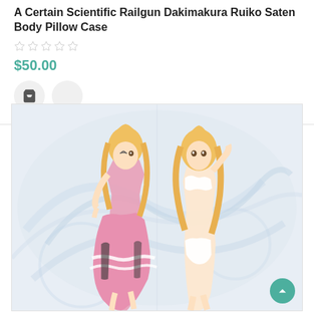A Certain Scientific Railgun Dakimakura Ruiko Saten Body Pillow Case
$50.00
[Figure (photo): Product image of a dakimakura (body pillow case) featuring anime character Ruiko Saten from A Certain Scientific Railgun. The pillow shows two sides: left side shows the character in a pink maid-style dress, right side shows the character in white swimwear/bikini. Both have long blonde hair. The background has a swirling light blue/white pattern.]